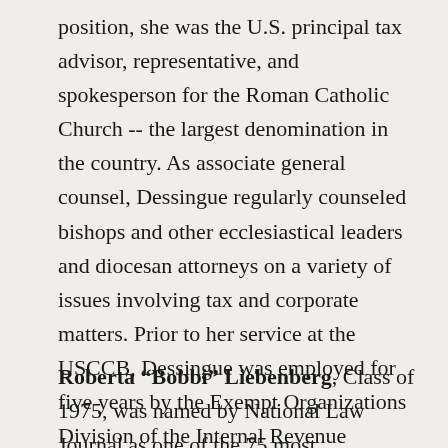position, she was the U.S. principal tax advisor, representative, and spokesperson for the Roman Catholic Church -- the largest denomination in the country. As associate general counsel, Dessingue regularly counseled bishops and other ecclesiastical leaders and diocesan attorneys on a variety of issues involving tax and corporate matters. Prior to her service at the USCCB, Dessingue was employed for five years by the Exempt Organizations Division of the Internal Revenue Service.
Roberta "Bobbi" Liebenberg, Class of 1975, was named by National Law Journal as one of the 75 most accomplished female attorneys working in the legal profession today.